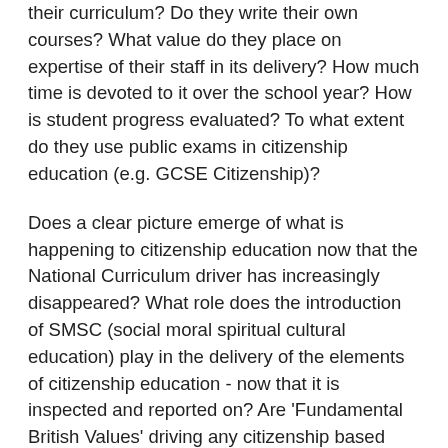their curriculum? Do they write their own courses? What value do they place on expertise of their staff in its delivery? How much time is devoted to it over the school year? How is student progress evaluated? To what extent do they use public exams in citizenship education (e.g. GCSE Citizenship)?
Does a clear picture emerge of what is happening to citizenship education now that the National Curriculum driver has increasingly disappeared? What role does the introduction of SMSC (social moral spiritual cultural education) play in the delivery of the elements of citizenship education - now that it is inspected and reported on? Are 'Fundamental British Values' driving any citizenship based curriculum provision - particularly in some of the values driven academy chains (e.g. Oasis)?